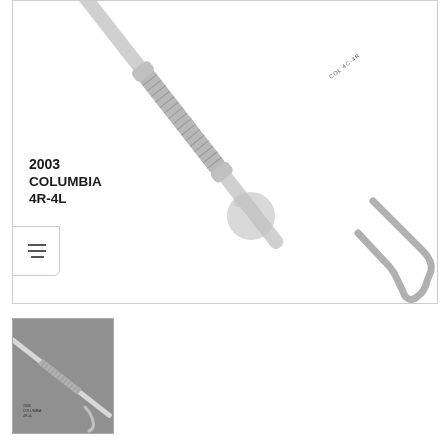[Figure (photo): Close-up product photo of a dental instrument - Columbia 4R-4L scaler (item 2003), showing a metal handle with knurled grip and curved working end, on white background. Text label '2003 COLUMBIA 4R-4L' visible on left side of image.]
[Figure (photo): Small thumbnail image of the same Columbia 4R-4L dental scaler instrument shown diagonally on a gray background, with small text label visible.]